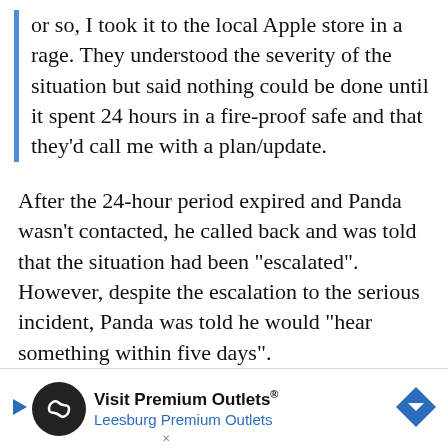or so, I took it to the local Apple store in a rage. They understood the severity of the situation but said nothing could be done until it spent 24 hours in a fire-proof safe and that they'd call me with a plan/update.
After the 24-hour period expired and Panda wasn't contacted, he called back and was told that the situation had been "escalated". However, despite the escalation to the serious incident, Panda was told he would "hear something within five days".
They did not call. I reached out today and was [...]ould hea[...]ce
[Figure (infographic): Advertisement banner for Visit Premium Outlets® - Leesburg Premium Outlets, with a circular black logo featuring an infinity symbol, a play button, text, and a blue diamond navigation arrow on the right.]